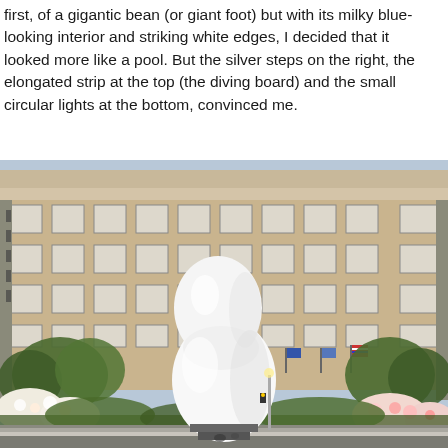first, of a gigantic bean (or giant foot) but with its milky blue-looking interior and striking white edges, I decided that it looked more like a pool. But the silver steps on the right, the elongated strip at the top (the diving board) and the small circular lights at the bottom, convinced me.
[Figure (photo): A large white organic bean-shaped sculpture standing in an urban plaza in front of a large beige/tan multi-story building with a grid of windows. Trees with green foliage and flowering bushes (white and pink roses) flank the sculpture. An American flag is visible in the background on the right side of the building. The sculpture is smooth and glossy white, with two lobes, resembling a figure-eight or peanut shape.]